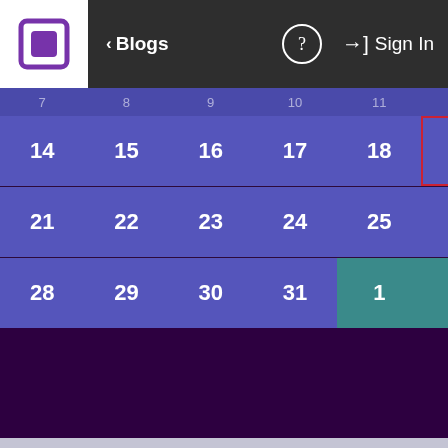[Figure (screenshot): Navigation bar with logo, Blogs back button, help icon, and Sign In button on dark background]
[Figure (screenshot): Calendar grid showing dates 14-31 in purple with date 19 highlighted in red border, and dates 1-3 in teal for next month]
Posted in Internet Topics, #trending
Netflix Makes Strides With Reboot (Flobots, FoxTrot, Entry #384]
Posted February 10th, 2017 at 2:00 PM by
Tags daily bloggity, magic school bus, netf...
[Figure (illustration): Cartoon yellow school bus with 'Dino Time!' speech bubble, animated style with orange headlights and blue windows]
Ad controls with play and close buttons